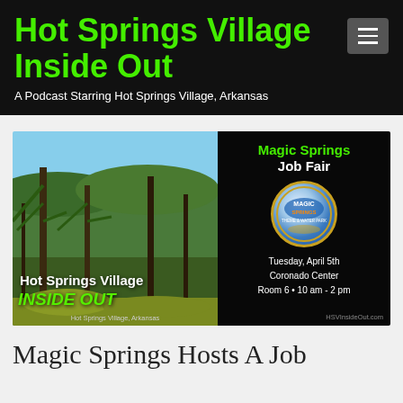Hot Springs Village Inside Out — A Podcast Starring Hot Springs Village, Arkansas
[Figure (illustration): Banner image split into two halves: left side shows a nature scene with trees and a lake view with overlaid text 'Hot Springs Village INSIDE OUT' and 'Hot Springs Village, Arkansas'; right side is dark background showing 'Magic Springs Job Fair' with Magic Springs logo and details: Tuesday, April 5th, Coronado Center, Room 6 • 10 am - 2 pm, HSVInsideOut.com]
Magic Springs Hosts A Job